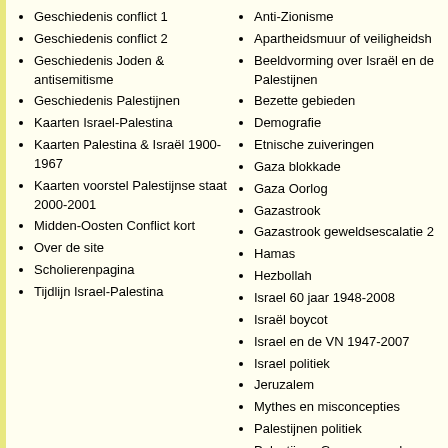Geschiedenis conflict 1
Geschiedenis conflict 2
Geschiedenis Joden & antisemitisme
Geschiedenis Palestijnen
Kaarten Israel-Palestina
Kaarten Palestina & Israël 1900-1967
Kaarten voorstel Palestijnse staat 2000-2001
Midden-Oosten Conflict kort
Over de site
Scholierenpagina
Tijdlijn Israel-Palestina
Anti-Zionisme
Apartheidsmuur of veiligheidsh…
Beeldvorming over Israël en de Palestijnen
Bezette gebieden
Demografie
Etnische zuiveringen
Gaza blokkade
Gaza Oorlog
Gazastrook
Gazastrook geweldsescalatie 2…
Hamas
Hezbollah
Israel 60 jaar 1948-2008
Israël boycot
Israel en de VN 1947-2007
Israel politiek
Jeruzalem
Mythes en misconcepties
Palestijnen politiek
Palestijnse Gevangenendocum…
Verenigde Naties
Vluchtelingen
Vrede & verzoening
Zesdaagse Oorlog